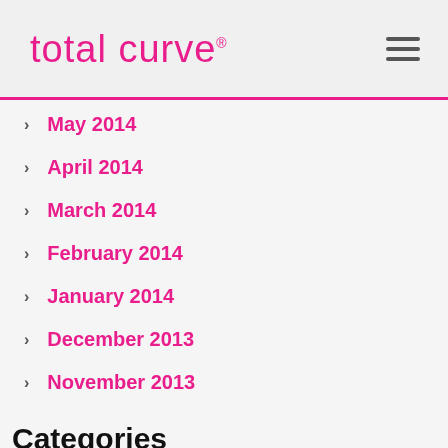total curve
May 2014
April 2014
March 2014
February 2014
January 2014
December 2013
November 2013
Categories
Info